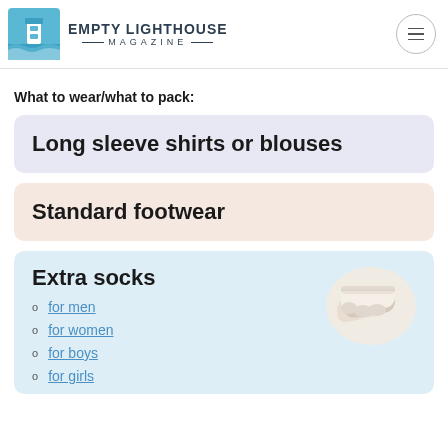Empty Lighthouse Magazine
What to wear/what to pack:
Long sleeve shirts or blouses
Standard footwear
Extra socks
for men
for women
for boys
for girls